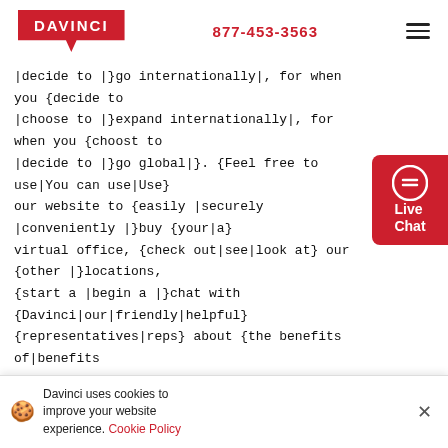DAVINCI | 877-453-3563
|decide to |}go internationally|, for when you {decide to |choose to |}expand internationally|, for when you {choost to |decide to |}go global|}. {Feel free to use|You can use|Use} our website to {easily |securely |conveniently |}buy {your|a} virtual office, {check out|see|look at} our {other |}locations, {start a |begin a |}chat with {Davinci|our|friendly|helpful} {representatives|reps} about {the benefits of|benefits of|being successful with|suceeding with|uses of} a virtual office {as well as|and on|and answer your questions on|and to answer questions regarding} how to set up your own virtual office{.|{, sometimes in as little as|, often as quickly as| {usually within} a {'|Davincis'|Our} {iety|plenty|lots|a
[Figure (other): Live Chat button with chat bubble icon, red background, white text reading 'Live Chat']
Davinci uses cookies to improve your website experience. Cookie Policy